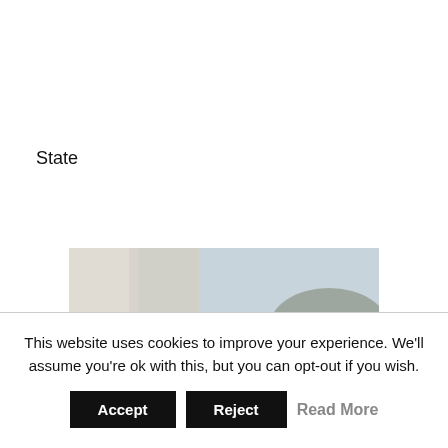State
[Figure (photo): Portrait photo of a woman with shoulder-length dark hair, wearing a gray blazer and pearl necklace, smiling, outdoors background.]
This website uses cookies to improve your experience. We'll assume you're ok with this, but you can opt-out if you wish.
Accept
Reject
Read More